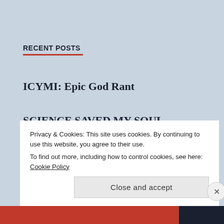RECENT POSTS
ICYMI: Epic God Rant
SCIENCE SAVED MY SOUL
ICYMI: Jim Jefferies Roasts God
Things Sanders and Stein Supporters Must
Privacy & Cookies: This site uses cookies. By continuing to use this website, you agree to their use.
To find out more, including how to control cookies, see here: Cookie Policy
Close and accept